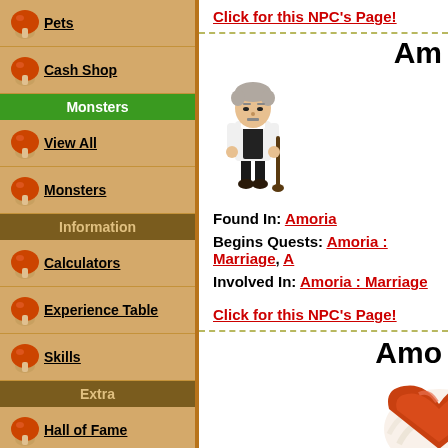Pets
Cash Shop
Monsters
View All
Monsters
Information
Calculators
Experience Table
Skills
Extra
Hall of Fame
Guides
Beginner
Warrior
Click for this NPC's Page!
Am
[Figure (illustration): Pixel art NPC character - elderly man with grey hair, cane, wearing white and black outfit]
Found In: Amoria
Begins Quests: Amoria : Marriage, A
Involved In: Amoria : Marriage
Click for this NPC's Page!
Amo
[Figure (illustration): Pixel art heart icon with orange/red colors and white swirling background]